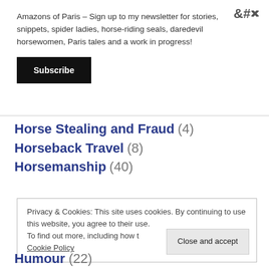×
Amazons of Paris – Sign up to my newsletter for stories, snippets, spider ladies, horse-riding seals, daredevil horsewomen, Paris tales and a work in progress!
Subscribe
Horse Stealing and Fraud (4)
Horseback Travel (8)
Horsemanship (40)
Privacy & Cookies: This site uses cookies. By continuing to use this website, you agree to their use. To find out more, including how to control cookies, see here: Cookie Policy
Close and accept
Humour (22)